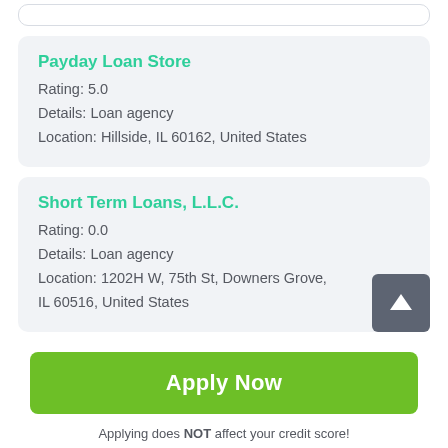Payday Loan Store
Rating: 5.0
Details: Loan agency
Location: Hillside, IL 60162, United States
Short Term Loans, L.L.C.
Rating: 0.0
Details: Loan agency
Location: 1202H W, 75th St, Downers Grove, IL 60516, United States
Apply Now
Applying does NOT affect your credit score!
No credit check to apply.